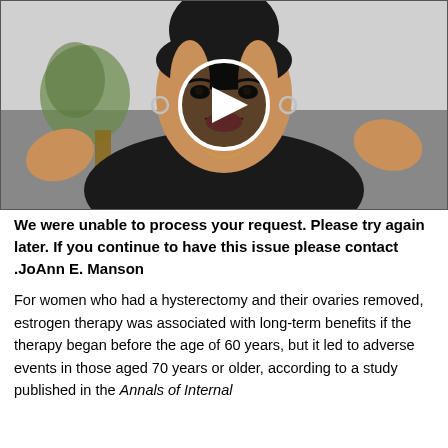[Figure (photo): Video thumbnail showing a woman with dark hair speaking, with a play button overlay in the center. She is wearing a black top and gesturing with her hands. A plant is visible in the background.]
We were unable to process your request. Please try again later. If you continue to have this issue please contact .JoAnn E. Manson
For women who had a hysterectomy and their ovaries removed, estrogen therapy was associated with long-term benefits if the therapy began before the age of 60 years, but it led to adverse events in those aged 70 years or older, according to a study published in the Annals of Internal